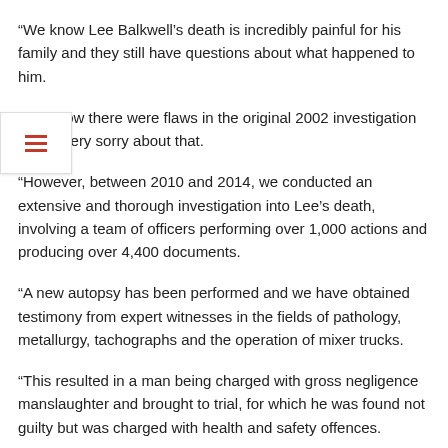“We know Lee Balkwell’s death is incredibly painful for his family and they still have questions about what happened to him.
“We know there were flaws in the original 2002 investigation and we ery sorry about that.
“However, between 2010 and 2014, we conducted an extensive and thorough investigation into Lee’s death, involving a team of officers performing over 1,000 actions and producing over 4,400 documents.
“A new autopsy has been performed and we have obtained testimony from expert witnesses in the fields of pathology, metallurgy, tachographs and the operation of mixer trucks.
“This resulted in a man being charged with gross negligence manslaughter and brought to trial, for which he was found not guilty but was charged with health and safety offences.